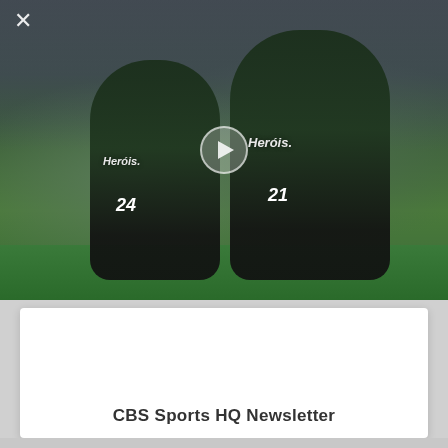[Figure (photo): Two Sporting CP football players in dark green jerseys with 'Heróis' sponsor, celebrating a goal. Player on left wears number 24, player on right wears number 21. Stadium background with blurred crowd. Video play button overlay in center. Close (X) button in top left corner.]
CBS Sports HQ Newsletter